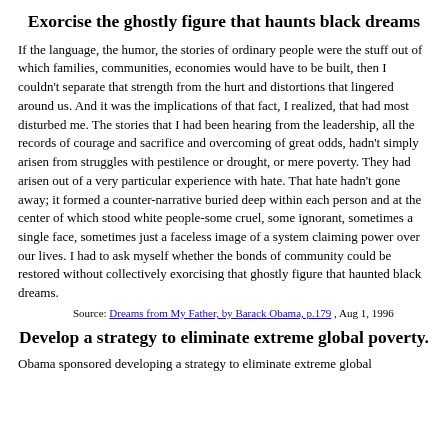Exorcise the ghostly figure that haunts black dreams
If the language, the humor, the stories of ordinary people were the stuff out of which families, communities, economies would have to be built, then I couldn't separate that strength from the hurt and distortions that lingered around us. And it was the implications of that fact, I realized, that had most disturbed me. The stories that I had been hearing from the leadership, all the records of courage and sacrifice and overcoming of great odds, hadn't simply arisen from struggles with pestilence or drought, or mere poverty. They had arisen out of a very particular experience with hate. That hate hadn't gone away; it formed a counter-narrative buried deep within each person and at the center of which stood white people-some cruel, some ignorant, sometimes a single face, sometimes just a faceless image of a system claiming power over our lives. I had to ask myself whether the bonds of community could be restored without collectively exorcising that ghostly figure that haunted black dreams.
Source: Dreams from My Father, by Barack Obama, p.179 , Aug 1, 1996
Develop a strategy to eliminate extreme global poverty.
Obama sponsored developing a strategy to eliminate extreme global